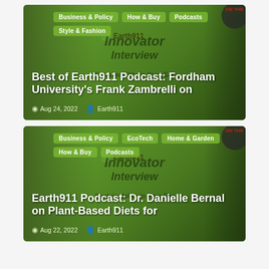[Figure (screenshot): Podcast card for 'Best of Earth911 Podcast: Fordham University's Frank Zambrelli on' with tags: Business & Policy, How & Buy, Podcasts, Style & Fashion. Date: Aug 24, 2022. Author: Earth911. Green gradient background with Innovator Interview watermark text.]
Best of Earth911 Podcast: Fordham University's Frank Zambrelli on
Aug 24, 2022   Earth911
[Figure (screenshot): Podcast card for 'Earth911 Podcast: Dr. Danielle Bernal on Plant-Based Diets for' with tags: Business & Policy, EcoTech, Home & Garden, How & Buy, Podcasts. Date: Aug 22, 2022. Author: Earth911. Green gradient background with Innovator Interview watermark text.]
Earth911 Podcast: Dr. Danielle Bernal on Plant-Based Diets for
Aug 22, 2022   Earth911